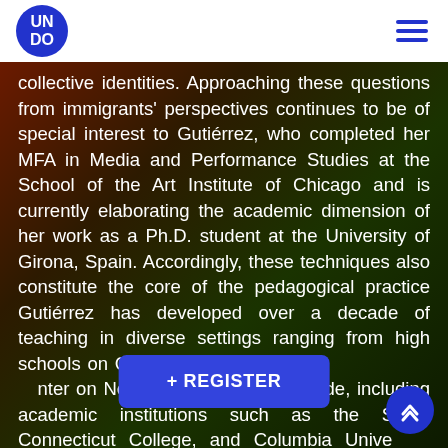UNDO
collective identities. Approaching these questions from immigrants' perspectives continues to be of special interest to Gutiérrez, who completed her MFA in Media and Performance Studies at the School of the Art Institute of Chicago and is currently elaborating the academic dimension of her work as a Ph.D. student at the University of Girona, Spain. Accordingly, these techniques also constitute the core of the pedagogical practice Gutiérrez has developed over a decade of teaching in diverse settings ranging from high schools on Chicago's South Side to a community center on New York's Upper West Side, including academic institutions such as the SAIC, Connecticut College, and Columbia University. Gutiérrez has held numerous art residencies at FACT...